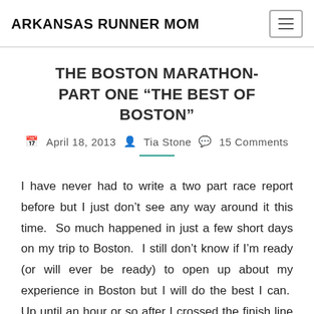ARKANSAS RUNNER MOM
THE BOSTON MARATHON- PART ONE “THE BEST OF BOSTON”
April 18, 2013  Tia Stone  15 Comments
I have never had to write a two part race report before but I just don’t see any way around it this time.  So much happened in just a few short days on my trip to Boston.  I still don’t know if I’m ready (or will ever be ready) to open up about my experience in Boston but I will do the best I can.  Up until an hour or so after I crossed the finish line Monday afternoon my…